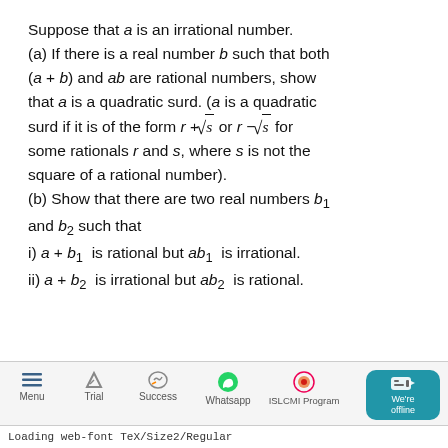Suppose that a is an irrational number. (a) If there is a real number b such that both (a + b) and ab are rational numbers, show that a is a quadratic surd. (a is a quadratic surd if it is of the form r + sqrt(s) or r − sqrt(s) for some rationals r and s, where s is not the square of a rational number). (b) Show that there are two real numbers b₁ and b₂ such that i) a + b₁ is rational but ab₁ is irrational. ii) a + b₂ is irrational but ab₂ is rational.
[Figure (screenshot): Mobile app bottom navigation bar with Menu, Trial, Success, Whatsapp, ISLCMI Program icons, and a teal chat bubble showing 'We're offline'. Loading bar at bottom says 'Loading web-font TeX/Size2/Regular'.]